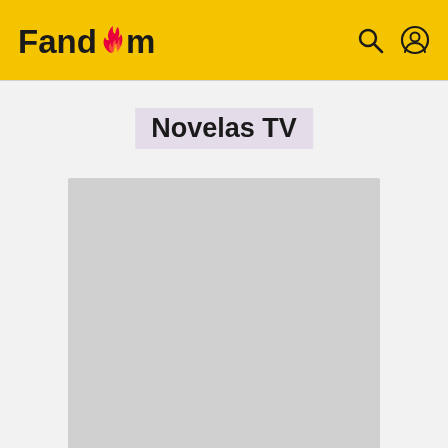Fandom
Novelas TV
[Figure (other): Gray advertisement placeholder box]
ADVERTISEMENT